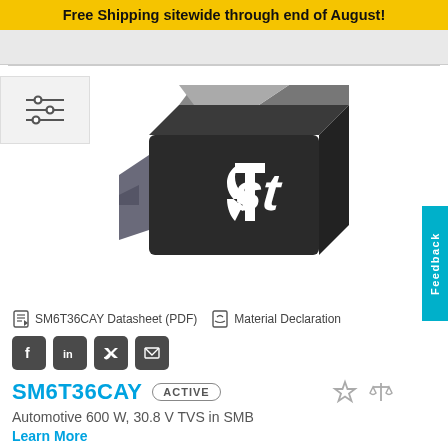Free Shipping sitewide through end of August!
[Figure (photo): 3D render of SM6T36CAY TVS diode in SMB package, dark gray rectangular component with ST Microelectronics logo]
SM6T36CAY Datasheet (PDF)   Material Declaration
[Figure (other): Social media sharing buttons: Facebook, LinkedIn, Twitter, Email]
SM6T36CAY
ACTIVE
Automotive 600 W, 30.8 V TVS in SMB
Learn More